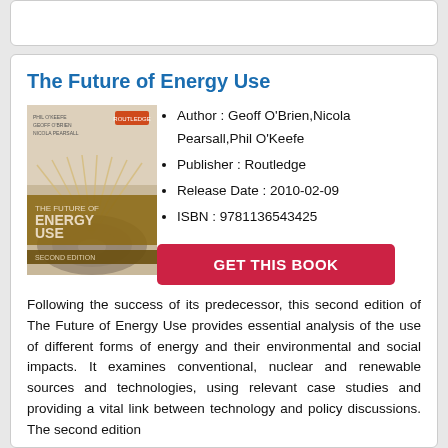The Future of Energy Use
[Figure (photo): Book cover of 'The Future of Energy Use, Second Edition' by Phil O'Keefe, Geoff O'Brien, Nicola Pearsall. Shows abstract solar panel or energy-related imagery in browns and golds.]
Author : Geoff O'Brien,Nicola Pearsall,Phil O'Keefe
Publisher : Routledge
Release Date : 2010-02-09
ISBN : 9781136543425
GET THIS BOOK
Following the success of its predecessor, this second edition of The Future of Energy Use provides essential analysis of the use of different forms of energy and their environmental and social impacts. It examines conventional, nuclear and renewable sources and technologies, using relevant case studies and providing a vital link between technology and policy discussions. The second edition